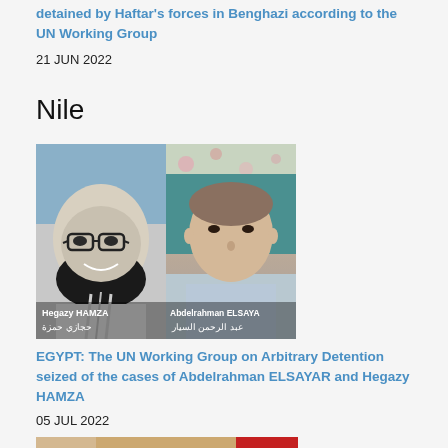detained by Haftar's forces in Benghazi according to the UN Working Group
21 JUN 2022
Nile
[Figure (photo): Two-person composite photo: left is a black-and-white photo of Hegazy HAMZA (حجازي حمزة) a bearded man with glasses smiling; right is a color photo of Abdelrahman ELSAYAR (عبد الرحمن السيار) a man in a light blue shirt.]
EGYPT: The UN Working Group on Arbitrary Detention seized of the cases of Abdelrahman ELSAYAR and Hegazy HAMZA
05 JUL 2022
[Figure (photo): Partial view of a photo showing a person, with a red sign partially visible on the right side.]